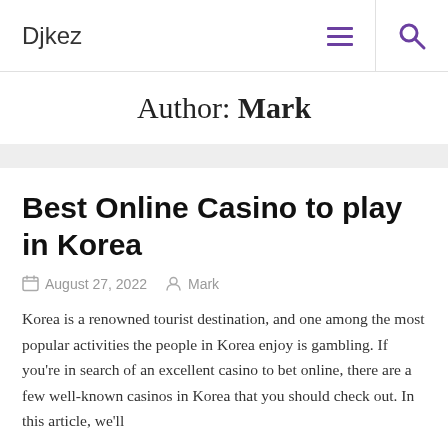Djkez
Author: Mark
Best Online Casino to play in Korea
August 27, 2022   Mark
Korea is a renowned tourist destination, and one among the most popular activities the people in Korea enjoy is gambling. If you're in search of an excellent casino to bet online, there are a few well-known casinos in Korea that you should check out. In this article, we'll